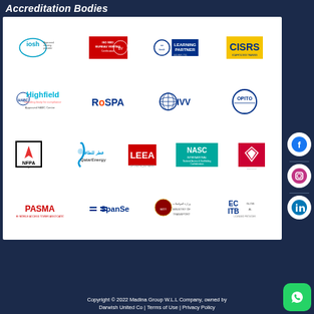Accreditation Bodies
[Figure (logo): Grid of accreditation body logos: IOSH Approved Training Provider, Bureau Veritas, NEBOSH Learning Partner Silver, CISRS, Highfield Awarding Body for Compliance Approved HABC Centre, RoSPA, IVV, OPITO, NFPA, QatarEnergy, LEEA, NASC, Diamond, PASMA, SpanSet, Ministry of Transport Qatar, EC ITB Global Licensed Provider. Social media icons (Facebook, Instagram, LinkedIn) on right sidebar.]
Copyright © 2022 Madina Group W.L.L Company, owned by Darwish United Co | Terms of Use | Privacy Policy